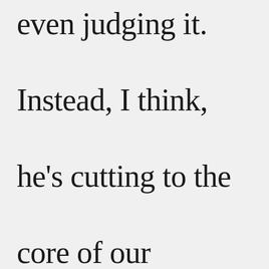even judging it. Instead, I think, he's cutting to the core of our question of motive.